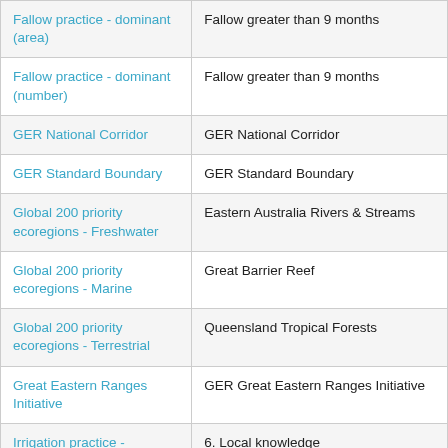| Fallow practice - dominant (area) | Fallow greater than 9 months |
| Fallow practice - dominant (number) | Fallow greater than 9 months |
| GER National Corridor | GER National Corridor |
| GER Standard Boundary | GER Standard Boundary |
| Global 200 priority ecoregions - Freshwater | Eastern Australia Rivers & Streams |
| Global 200 priority ecoregions - Marine | Great Barrier Reef |
| Global 200 priority ecoregions - Terrestrial | Queensland Tropical Forests |
| Great Eastern Ranges Initiative | GER Great Eastern Ranges Initiative |
| Irrigation practice - dominant | 6. Local knowledge |
| Land use | Grazing of native pastures |